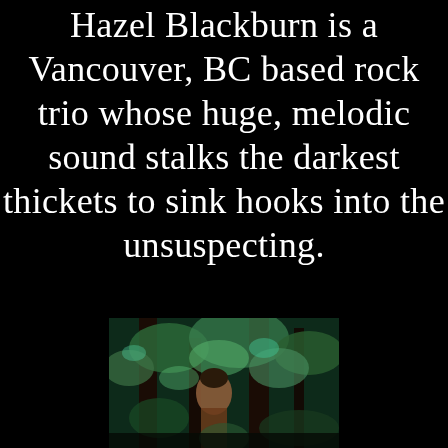Hazel Blackburn is a Vancouver, BC based rock trio whose huge, melodic sound stalks the darkest thickets to sink hooks into the unsuspecting.
[Figure (photo): A photo of a band or person partially visible, with green and brown tones suggesting trees or foliage in the background.]